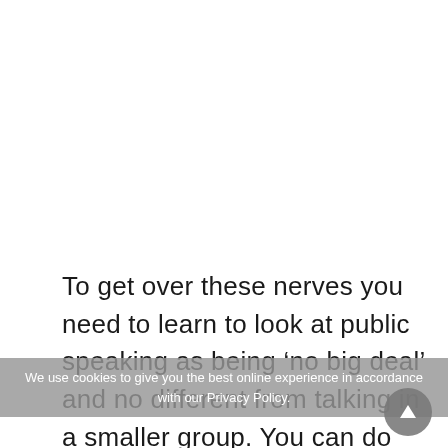To get over these nerves you need to learn to look at public speaking as being ‘no big deal’ and no different from talking in a smaller group. You can do this by reminding yourself with some positive affirmations that it’s not the end of the world if you go wrong – you don’t know these
We use cookies to give you the best online experience in accordance with our Privacy Policy.